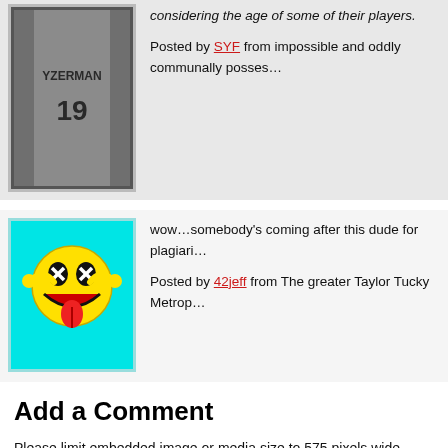[Figure (photo): Avatar of user SYF showing hockey jersey with YZERMAN and number 19]
considering the age of some of their players.
Posted by SYF from impossible and oddly communally posses...
[Figure (illustration): Smiley face avatar with yellow cartoonish character on cyan background sticking its tongue out]
wow...somebody's coming after this dude for plagiari...
Posted by 42jeff from The greater Taylor Tucky Metrop...
Add a Comment
Please limit embedded image or media size to 575 pixels wide.
Add your own avatar by joining Kukla's Korner, or logging in and uploading one in y...
Captchas bug you? Join KK or log in and you won't have to bother.
Smileys